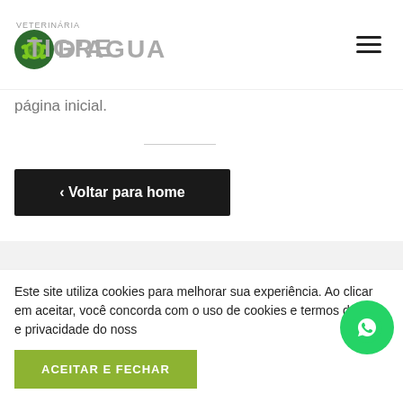[Figure (logo): Veterinária Tigre D'Agua logo with turtle icon in header]
página inicial.
‹ Voltar para home
[Figure (logo): Veterinária Tigre D'Agua logo with turtle icon in footer section]
Este site utiliza cookies para melhorar sua experiência. Ao clicar em aceitar, você concorda com o uso de cookies e termos de uso e privacidade do noss...
ACEITAR E FECHAR